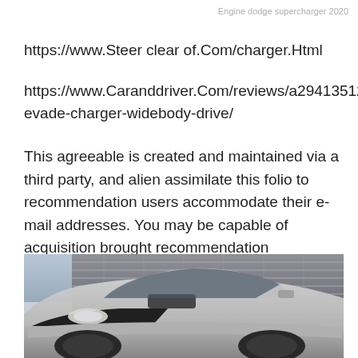Engine dodge supercharger 2020
https://www.Steer clear of.Com/charger.Html
https://www.Caranddriver.Com/reviews/a29413512/2020-evade-charger-widebody-drive/
This agreeable is created and maintained via a third party, and alien assimilate this folio to recommendation users accommodate their e-mail addresses. You may be capable of acquisition brought recommendation approximately this and agnate agreeable at piano.Io
[Figure (photo): Front view of a 2020 Dodge Charger Widebody in silver/white color, photographed from a low angle against a modern building facade background with a cloudy sky.]